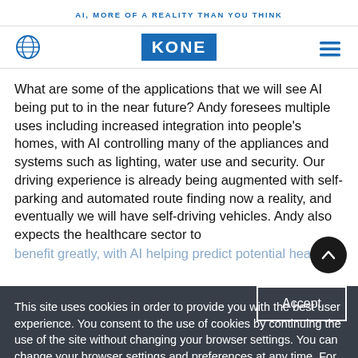AI, MORE OF A REALITY THAN YOU THINK
[Figure (logo): Globe icon, KONE logo, hamburger menu icon]
What are some of the applications that we will see AI being put to in the near future? Andy foresees multiple uses including increased integration into people's homes, with AI controlling many of the appliances and systems such as lighting, water use and security. Our driving experience is already being augmented with self-parking and automated route finding now a reality, and eventually we will have self-driving vehicles. Andy also expects the healthcare sector to benefit greatly, with AI helping predict potential health
This site uses cookies in order to provide you with the best user experience. You consent to the use of cookies by continuing the use of the site without changing your browser settings. You can change your browser settings and preferences at any time. For further information on cookies, please see our privacy statement.